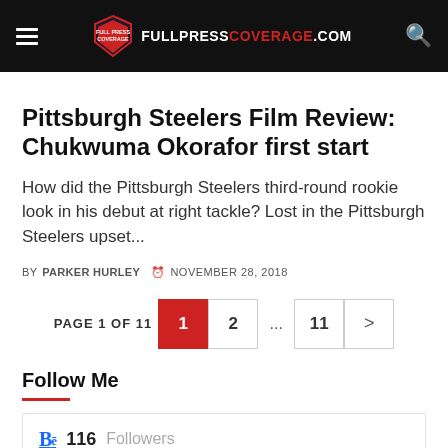FULLPRESSCOVERAGE.COM
Pittsburgh Steelers Film Review: Chukwuma Okorafor first start
How did the Pittsburgh Steelers third-round rookie look in his debut at right tackle? Lost in the Pittsburgh Steelers upset...
BY PARKER HURLEY  NOVEMBER 28, 2018
PAGE 1 OF 11  1  2  ...  11  >
Follow Me
116 Followers